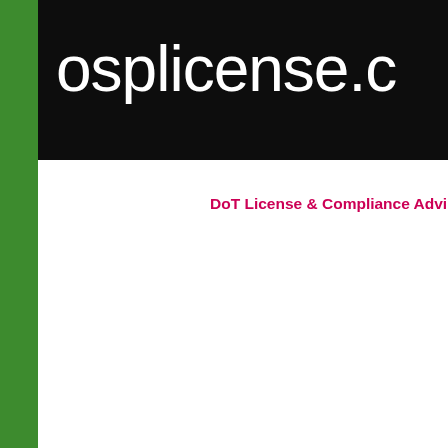[Figure (screenshot): Website header with black background showing 'osplicense.c' text (cropped) in white large font on black bar]
DoT License & Compliance Advi…
[Figure (screenshot): Comment/post box area with light gray background and paperclip icon]
Newer Post
Home
[Figure (screenshot): Bottom section showing yellow banner with large letter 'D' and partial photo of a person]